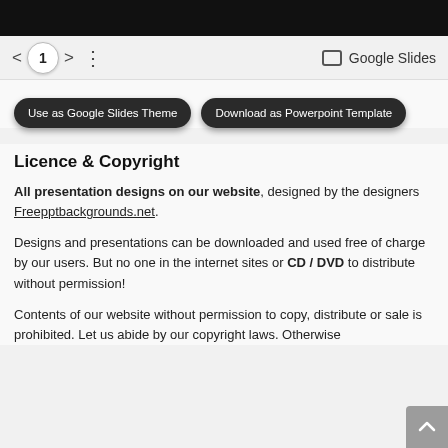[Figure (screenshot): Black top bar (browser chrome)]
< 1 > ⋮   Google Slides
[Figure (other): Two dark buttons: 'Use as Google Slides Theme' and 'Download as Powerpoint Template']
Licence & Copyright
All presentation designs on our website, designed by the designers Freepptbackgrounds.net.
Designs and presentations can be downloaded and used free of charge by our users. But no one in the internet sites or CD / DVD to distribute without permission!
Contents of our website without permission to copy, distribute or sale is prohibited. Let us abide by our copyright laws. Otherwise